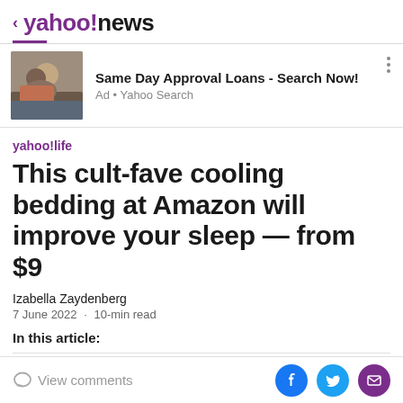< yahoo!news
[Figure (photo): Couple embracing and smiling, used as ad image]
Same Day Approval Loans - Search Now!
Ad • Yahoo Search
yahoo!life
This cult-fave cooling bedding at Amazon will improve your sleep — from $9
Izabella Zaydenberg
7 June 2022 · 10-min read
In this article:
View comments